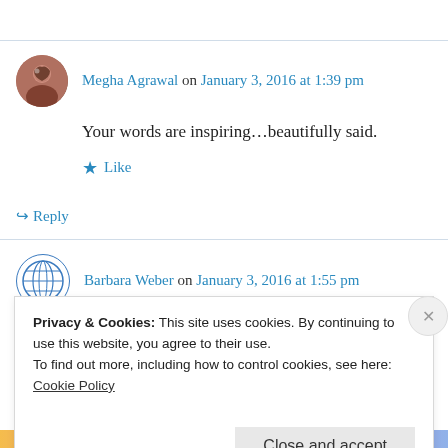Megha Agrawal on January 3, 2016 at 1:39 pm
Your words are inspiring…beautifully said.
Like
Reply
Barbara Weber on January 3, 2016 at 1:55 pm
Privacy & Cookies: This site uses cookies. By continuing to use this website, you agree to their use. To find out more, including how to control cookies, see here: Cookie Policy
Close and accept